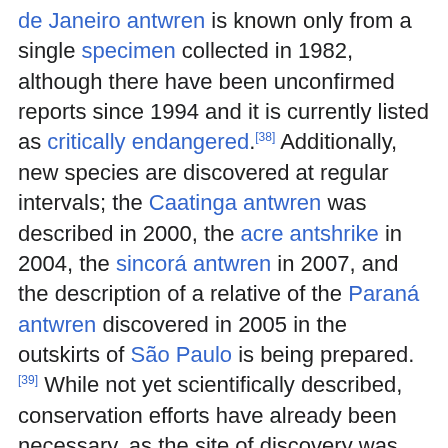de Janeiro antwren is known only from a single specimen collected in 1982, although there have been unconfirmed reports since 1994 and it is currently listed as critically endangered.[38] Additionally, new species are discovered at regular intervals; the Caatinga antwren was described in 2000, the acre antshrike in 2004, the sincorá antwren in 2007, and the description of a relative of the Paraná antwren discovered in 2005 in the outskirts of São Paulo is being prepared.[39] While not yet scientifically described, conservation efforts have already been necessary, as the site of discovery was set out to be flooded to form a reservoir. Consequently, 72 individuals were captured and transferred to another locality.[40]
References
1. A Sibley, C. G. and Ahlquist, J. E. (1990). Phylogeny...